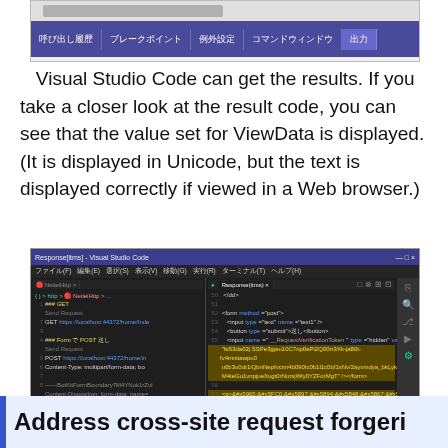[Figure (screenshot): Visual Studio Code debug panel showing tabs: 呼び出し履歴, ブレークポイント, 例外設定, コマンドウィンドウ, 出力 (active)]
Visual Studio Code can get the results. If you take a closer look at the result code, you can see that the value set for ViewData is displayed. (It is displayed in Unicode, but the text is displayed correctly if viewed in a Web browser.)
[Figure (screenshot): Visual Studio Code editor showing two files open: NetieiHttp and Response(itms). Left panel shows HTTP request code. Right panel shows HTML response code with Unicode-encoded Japanese text highlighted in yellow.]
Address cross-site request forgeri